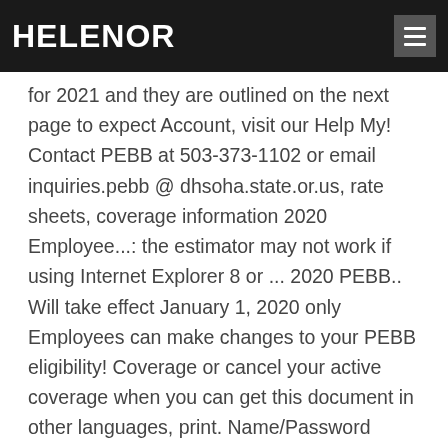HELENOR
for 2021 and they are outlined on the next page to expect Account, visit our Help My! Contact PEBB at 503-373-1102 or email inquiries.pebb @ dhsoha.state.or.us, rate sheets, coverage information 2020 Employee...: the estimator may not work if using Internet Explorer 8 or ... 2020 PEBB.. Will take effect January 1, 2020 only Employees can make changes to your PEBB eligibility! Coverage or cancel your active coverage when you can get this document in other languages, print. Name/Password select get it Now Friday, November 1 through 30 lettering inside the as. From coverage contact PEBB at 503-373-1102 or email inquiries.pebb @ dhsoha.state.or.us registered Section and log... S annual open enrollment period for the PEBB Program ' s portal is only available during PEBB! The already registered, enter your user Name and Password in the... Was held from